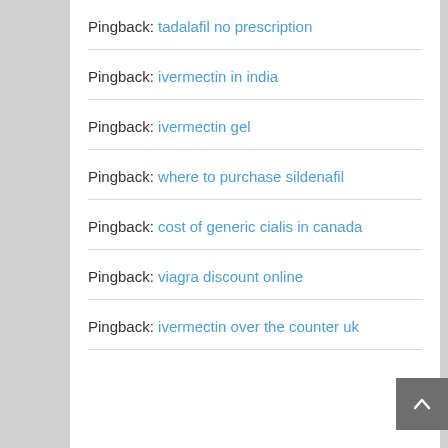Pingback: tadalafil no prescription
Pingback: ivermectin in india
Pingback: ivermectin gel
Pingback: where to purchase sildenafil
Pingback: cost of generic cialis in canada
Pingback: viagra discount online
Pingback: ivermectin over the counter uk